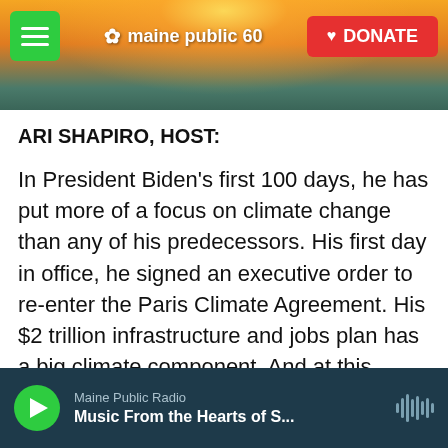[Figure (screenshot): Maine Public website header banner with sunset/landscape background, hamburger menu button, Maine Public 60th anniversary logo, and red DONATE button]
ARI SHAPIRO, HOST:
In President Biden's first 100 days, he has put more of a focus on climate change than any of his predecessors. His first day in office, he signed an executive order to re-enter the Paris Climate Agreement. His $2 trillion infrastructure and jobs plan has a big climate component. And at this week's virtual climate summit, he pledged to cut U.S. emissions in half by the end of this decade by investing heavily in new technologies.
[Figure (screenshot): Maine Public Radio audio player bar with green play button, station name, track title 'Music From the Hearts of S...' and waveform icon]